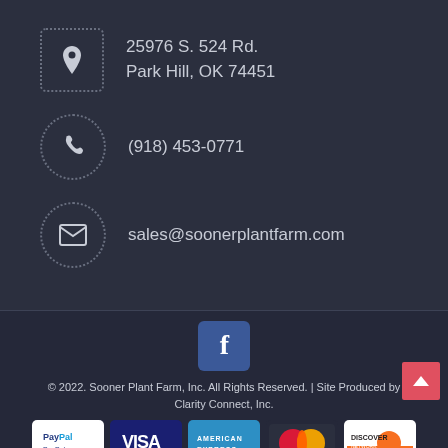25976 S. 524 Rd.
Park Hill, OK 74451
(918) 453-0771
sales@soonerplantfarm.com
[Figure (logo): Facebook logo button (blue rounded square with white f)]
© 2022. Sooner Plant Farm, Inc. All Rights Reserved. | Site Produced by Clarity Connect, Inc.
[Figure (infographic): Payment method logos: PayPal, Visa, American Express, MasterCard, Discover]